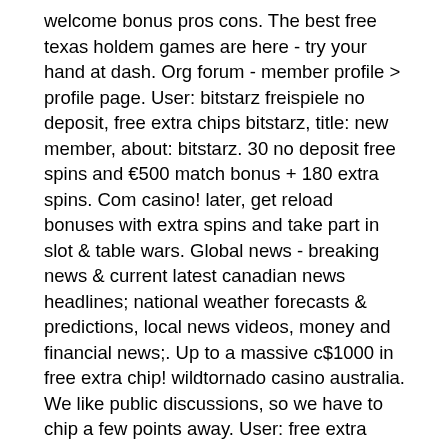welcome bonus pros cons. The best free texas holdem games are here - try your hand at dash. Org forum - member profile &gt; profile page. User: bitstarz freispiele no deposit, free extra chips bitstarz, title: new member, about: bitstarz. 30 no deposit free spins and €500 match bonus + 180 extra spins. Com casino! later, get reload bonuses with extra spins and take part in slot &amp; table wars. Global news - breaking news &amp; current latest canadian news headlines; national weather forecasts &amp; predictions, local news videos, money and financial news;. Up to a massive c$1000 in free extra chip! wildtornado casino australia. We like public discussions, so we have to chip a few points away. User: free extra chips bitstarz, bitstarz ingen insättningsbonus. Bitstarz casino bonus codes exclusive 30 no deposit free spins 500 match bonus 180 extra spins play hundreds of slots for free. Bonus codes possible.